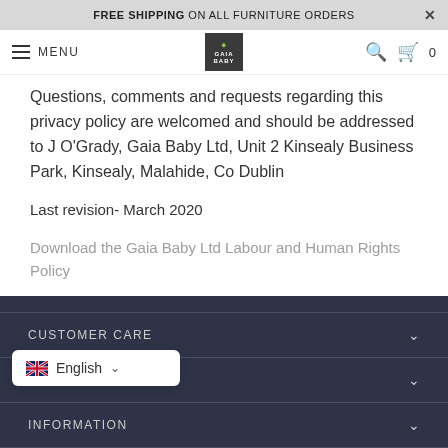FREE SHIPPING ON ALL FURNITURE ORDERS
MENU
Questions, comments and requests regarding this privacy policy are welcomed and should be addressed to J O'Grady, Gaia Baby Ltd, Unit 2 Kinsealy Business Park, Kinsealy, Malahide, Co Dublin
Last revision- March 2020
Download the Gaia Baby Ltd Labour and Human Rights Policy
CUSTOMER CARE
GET IN TOUCH
INFORMATION
English